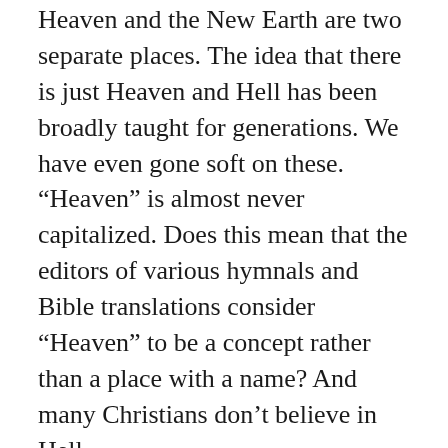Heaven and the New Earth are two separate places. The idea that there is just Heaven and Hell has been broadly taught for generations. We have even gone soft on these. “Heaven” is almost never capitalized. Does this mean that the editors of various hymnals and Bible translations consider “Heaven” to be a concept rather than a place with a name? And many Christians don’t believe in Hell.
If you are of the impression that there is only Heaven and Hell, where did you learn that? What Bible passages were used? Or was this just the general description given you as a child by adults who never studied the Scripture for this topic? Such an idea can become entrenched in our mind. We are certain that it must be in the